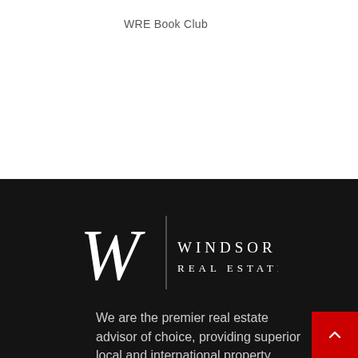WRE Book Club
[Figure (logo): Windsor Real Estate logo: stylized W letterform in italic serif with vertical divider line, followed by 'WINDSOR' and 'REAL ESTATE' text in spaced serif capitals, white on black background]
We are the premier real estate advisor of choice, providing superior local and international property solutions to all our clients.